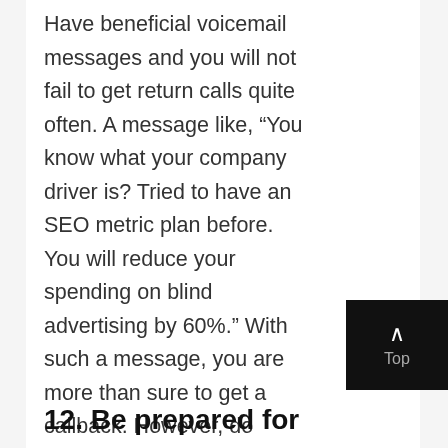Have beneficial voicemail messages and you will not fail to get return calls quite often. A message like, “You know what your company driver is? Tried to have an SEO metric plan before. You will reduce your spending on blind advertising by 60%.” With such a message, you are more than sure to get a callback. However, do away with assumptions. Always ask the prospect to give you a callback because if you don’t ask, you will not get it.
12. Be prepared for